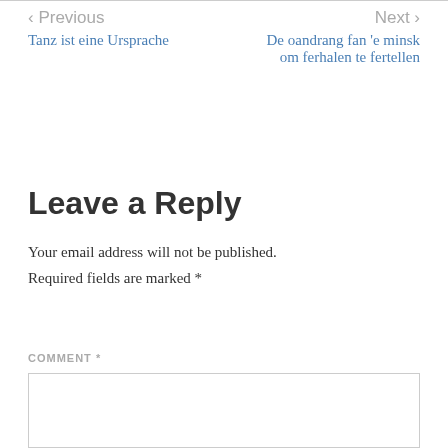< Previous
Tanz ist eine Ursprache
Next >
De oandrang fan 'e minsk om ferhalen te fertellen
Leave a Reply
Your email address will not be published. Required fields are marked *
COMMENT *